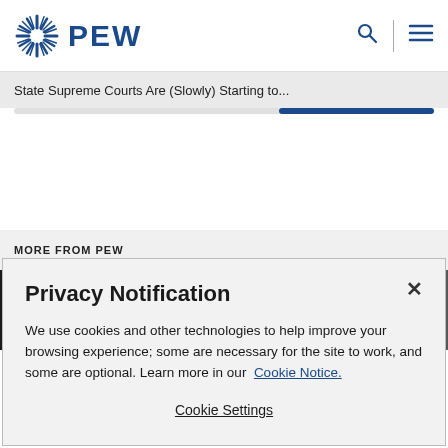PEW
State Supreme Courts Are (Slowly) Starting to...
MORE FROM PEW
[Figure (photo): Horizontal strip image showing courthouse or building interior in black and white tones]
Privacy Notification
We use cookies and other technologies to help improve your browsing experience; some are necessary for the site to work, and some are optional. Learn more in our Cookie Notice.
Cookie Settings